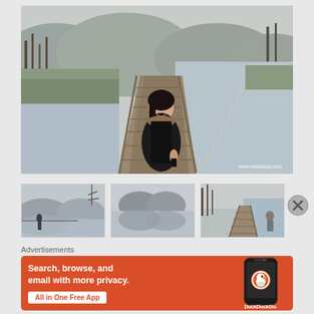[Figure (photo): Woman in black winter jacket standing on wooden boardwalk/bridge next to a river, with bare trees and mountains in background. Website watermark: www.violetokay.com]
[Figure (photo): Thumbnail 1: Misty lake with mountains and fence railing, person visible]
[Figure (photo): Thumbnail 2: Misty lake scene with reflection of mountains]
[Figure (photo): Thumbnail 3: Wooden boardwalk/stairs next to river with bare trees]
Advertisements
[Figure (infographic): DuckDuckGo advertisement banner: 'Search, browse, and email with more privacy. All in One Free App' with phone graphic and DuckDuckGo logo/duck icon]